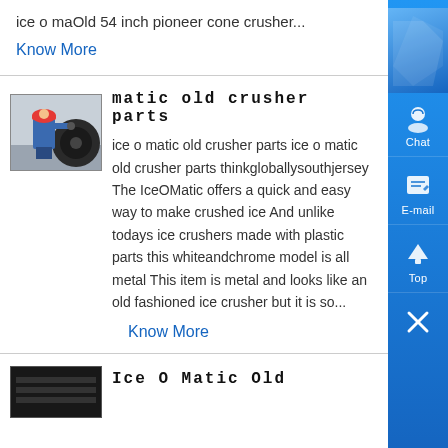ice o maOld 54 inch pioneer cone crusher...
Know More
matic old crusher parts
[Figure (photo): Industrial worker in hard hat and blue uniform working on large machinery parts]
ice o matic old crusher parts ice o matic old crusher parts thinkgloballysouthjersey The IceOMatic offers a quick and easy way to make crushed ice And unlike todays ice crushers made with plastic parts this whiteandchrome model is all metal This item is metal and looks like an old fashioned ice crusher but it is so...
Know More
Ice O Matic Old